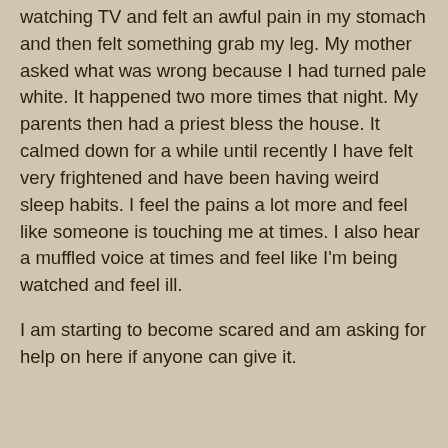watching TV and felt an awful pain in my stomach and then felt something grab my leg. My mother asked what was wrong because I had turned pale white. It happened two more times that night. My parents then had a priest bless the house. It calmed down for a while until recently I have felt very frightened and have been having weird sleep habits. I feel the pains a lot more and feel like someone is touching me at times. I also hear a muffled voice at times and feel like I'm being watched and feel ill.
I am starting to become scared and am asking for help on here if anyone can give it.